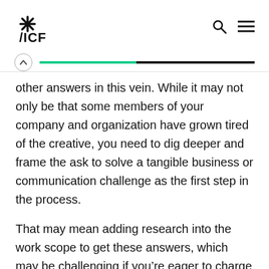ICF
other answers in this vein. While it may not only be that some members of your company and organization have grown tired of the creative, you need to dig deeper and frame the ask to solve a tangible business or communication challenge as the first step in the process.
That may mean adding research into the work scope to get these answers, which may be challenging if you’re eager to charge ahead and start looking at creative mockups. Stay focused and